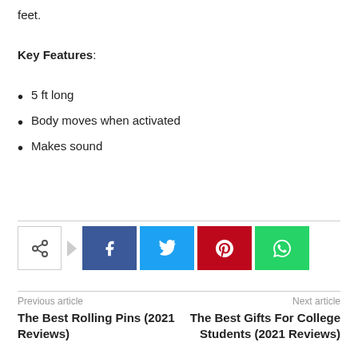feet.
Key Features:
5 ft long
Body moves when activated
Makes sound
[Figure (infographic): Social sharing buttons: share icon, Facebook, Twitter, Pinterest, WhatsApp]
Previous article
The Best Rolling Pins (2021 Reviews)
Next article
The Best Gifts For College Students (2021 Reviews)